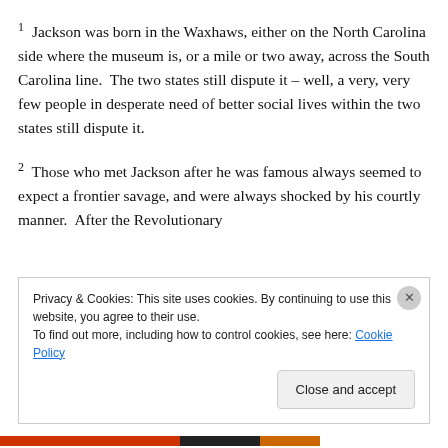1 Jackson was born in the Waxhaws, either on the North Carolina side where the museum is, or a mile or two away, across the South Carolina line.  The two states still dispute it – well, a very, very few people in desperate need of better social lives within the two states still dispute it.
2 Those who met Jackson after he was famous always seemed to expect a frontier savage, and were always shocked by his courtly manner.  After the Revolutionary
Privacy & Cookies: This site uses cookies. By continuing to use this website, you agree to their use.
To find out more, including how to control cookies, see here: Cookie Policy